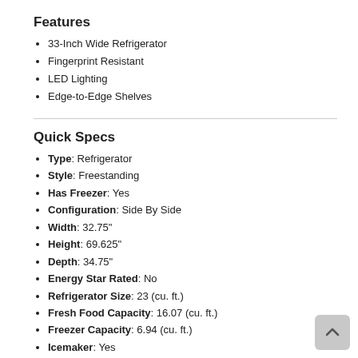Features
33-Inch Wide Refrigerator
Fingerprint Resistant
LED Lighting
Edge-to-Edge Shelves
Quick Specs
Type: Refrigerator
Style: Freestanding
Has Freezer: Yes
Configuration: Side By Side
Width: 32.75"
Height: 69.625"
Depth: 34.75"
Energy Star Rated: No
Refrigerator Size: 23 (cu. ft.)
Fresh Food Capacity: 16.07 (cu. ft.)
Freezer Capacity: 6.94 (cu. ft.)
Icemaker: Yes
Dispenser: Yes
Counter Depth: No
Sabbath Mode: Yes
WiFi Connected: No